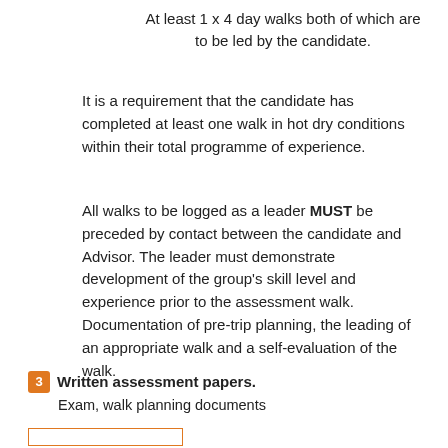At least 1 x 4 day walks both of which are to be led by the candidate.
It is a requirement that the candidate has completed at least one walk in hot dry conditions within their total programme of experience.
All walks to be logged as a leader MUST be preceded by contact between the candidate and Advisor. The leader must demonstrate development of the group's skill level and experience prior to the assessment walk. Documentation of pre-trip planning, the leading of an appropriate walk and a self-evaluation of the walk.
3 Written assessment papers. Exam, walk planning documents
[Figure (other): Orange outlined rectangle at bottom of page, partially visible]